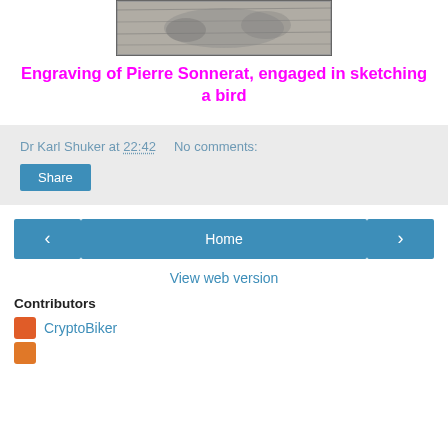[Figure (photo): Black and white engraving image of Pierre Sonnerat sketching a bird, shown at top of page]
Engraving of Pierre Sonnerat, engaged in sketching a bird
Dr Karl Shuker at 22:42    No comments:
Share
Home
View web version
Contributors
CryptoBiker